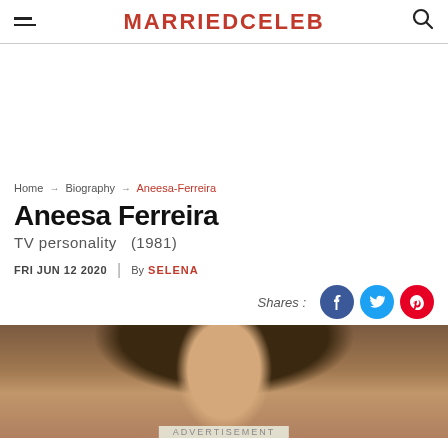MARRIEDCELEB
[Figure (other): Advertisement/blank space placeholder]
Home → Biography → Aneesa-Ferreira
Aneesa Ferreira
TV personality   (1981)
FRI JUN 12 2020  |  By SELENA
Shares:
[Figure (photo): Photo of Aneesa Ferreira showing face/upper body with dark hair]